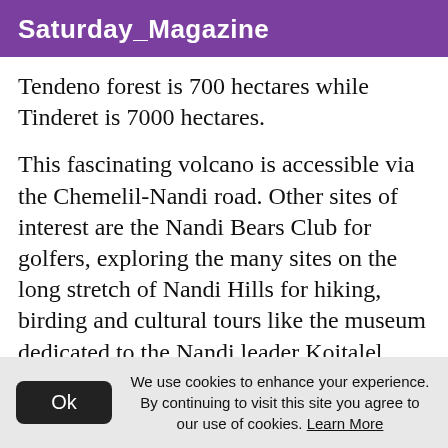Saturday_Magazine
Tendeno forest is 700 hectares while Tinderet is 7000 hectares.
This fascinating volcano is accessible via the Chemelil-Nandi road. Other sites of interest are the Nandi Bears Club for golfers, exploring the many sites on the long stretch of Nandi Hills for hiking, birding and cultural tours like the museum dedicated to the Nandi leader Koitalel Arap Samoei killed by a colonial administrator, the prehistoric site at nearby Fort Ternan and the longest bridge in East
We use cookies to enhance your experience. By continuing to visit this site you agree to our use of cookies. Learn More